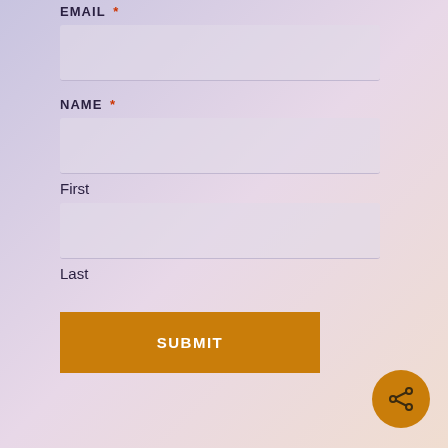EMAIL *
NAME *
First
Last
SUBMIT
[Figure (other): Share icon button (circular orange button with share/network icon)]